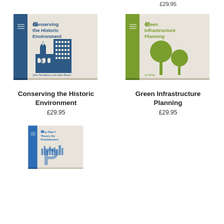£29.95
[Figure (illustration): Book cover: Conserving the Historic Environment, blue and beige cover with illustration of historic buildings]
[Figure (illustration): Book cover: Green Infrastructure Planning, olive green and beige cover with illustration of trees]
Conserving the Historic Environment
£29.95
Green Infrastructure Planning
£29.95
[Figure (illustration): Book cover: Why Plan? Theory for Practitioners, blue cover with city/planning illustration]